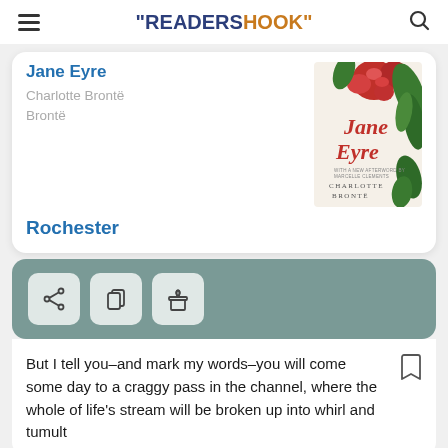"READERSHOOK"
Jane Eyre
Charlotte Brontë
Brontë
[Figure (illustration): Book cover of Jane Eyre by Charlotte Brontë, featuring red roses and green leaves with the title in serif font]
Rochester
[Figure (infographic): Action buttons row: share, copy, gift icons on a teal/sage green background]
But I tell you–and mark my words–you will come some day to a craggy pass in the channel, where the whole of life's stream will be broken up into whirl and tumult